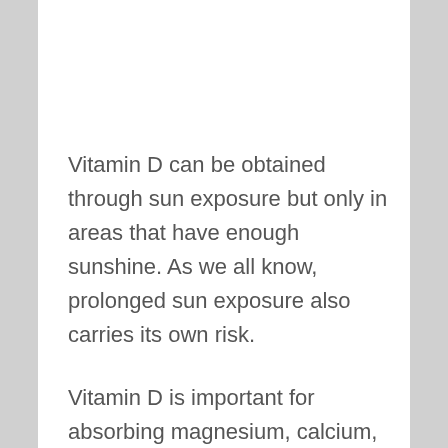Vitamin D can be obtained through sun exposure but only in areas that have enough sunshine. As we all know, prolonged sun exposure also carries its own risk.
Vitamin D is important for absorbing magnesium, calcium, and other minerals.
It maintains the strength and growth of